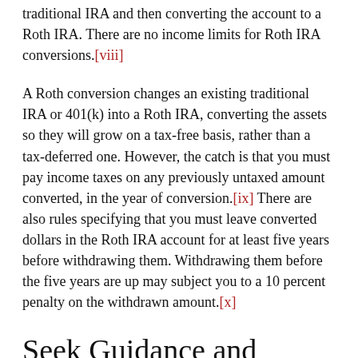traditional IRA and then converting the account to a Roth IRA. There are no income limits for Roth IRA conversions.[viii]
A Roth conversion changes an existing traditional IRA or 401(k) into a Roth IRA, converting the assets so they will grow on a tax-free basis, rather than a tax-deferred one. However, the catch is that you must pay income taxes on any previously untaxed amount converted, in the year of conversion.[ix] There are also rules specifying that you must leave converted dollars in the Roth IRA account for at least five years before withdrawing them. Withdrawing them before the five years are up may subject you to a 10 percent penalty on the withdrawn amount.[x]
Seek Guidance and Weigh Your Options Carefully